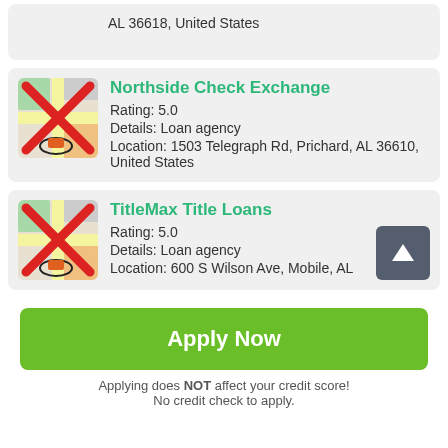AL 36618, United States
Northside Check Exchange
Rating: 5.0
Details: Loan agency
Location: 1503 Telegraph Rd, Prichard, AL 36610, United States
TitleMax Title Loans
Rating: 5.0
Details: Loan agency
Location: 600 S Wilson Ave, Mobile, AL
Apply Now
Applying does NOT affect your credit score!
No credit check to apply.